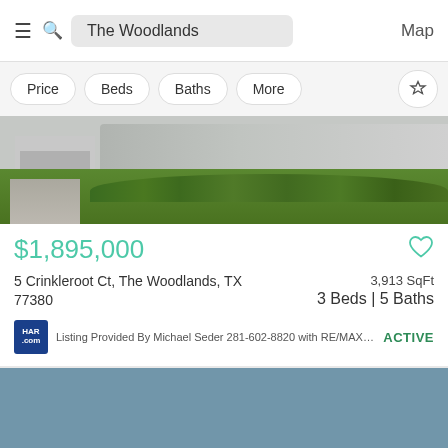The Woodlands | Map
Price | Beds | Baths | More
[Figure (photo): Exterior photo of a house with stone facade, green lawn, ornamental shrubs, and driveway]
$1,895,000
5 Crinkleroot Ct, The Woodlands, TX 77380
3,913 SqFt
3 Beds | 5 Baths
Listing Provided By Michael Seder 281-602-8820 with RE/MAX T...  ACTIVE
[Figure (photo): Second listing property photo with steel blue/muted color exterior]